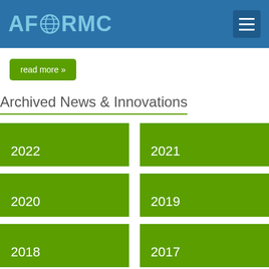AFORMC
read more »
Archived News & Innovations
2022
2021
2020
2019
2018
2017
2016
2015